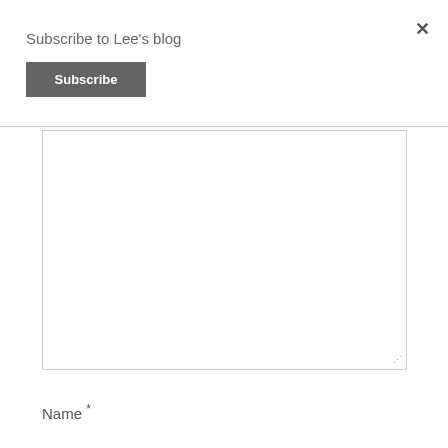Subscribe to Lee's blog
×
Subscribe
[Figure (screenshot): Empty text area input box with resize handle at bottom right]
Name *